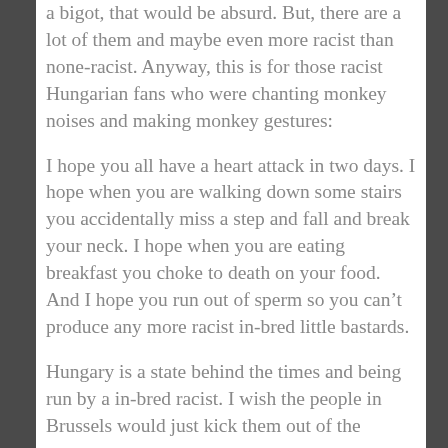a bigot, that would be absurd. But, there are a lot of them and maybe even more racist than none-racist. Anyway, this is for those racist Hungarian fans who were chanting monkey noises and making monkey gestures:
I hope you all have a heart attack in two days. I hope when you are walking down some stairs you accidentally miss a step and fall and break your neck. I hope when you are eating breakfast you choke to death on your food. And I hope you run out of sperm so you can't produce any more racist in-bred little bastards.
Hungary is a state behind the times and being run by a in-bred racist. I wish the people in Brussels would just kick them out of the